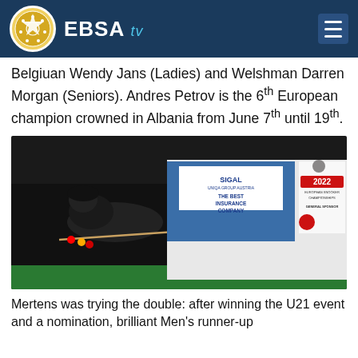EBSA.tv
Belgiuan Wendy Jans (Ladies) and Welshman Darren Morgan (Seniors). Andres Petrov is the 6th European champion crowned in Albania from June 7th until 19th.
[Figure (photo): A snooker player leaning over a green snooker table taking a shot. In the background are banners including SIGAL insurance company, a number 17 placard, and a 2022 European Snooker Championships General Sponsor banner.]
Mertens was trying the double: after winning the U21 event and a nomination, brilliant Men's runner-up